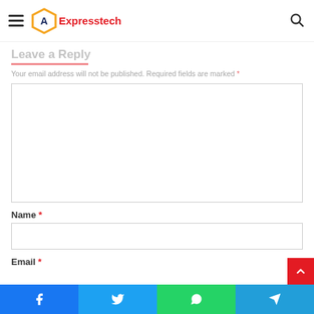Expresstech logo and navigation header
[Figure (logo): Expresstech logo with orange hexagon containing a compass/drafting tool icon and red 'Expresstech' text]
Leave a Reply
Your email address will not be published. Required fields are marked *
Comment text area (empty)
Name *
Name input field (empty)
Email *
Social share bar: Facebook, Twitter, WhatsApp, Telegram